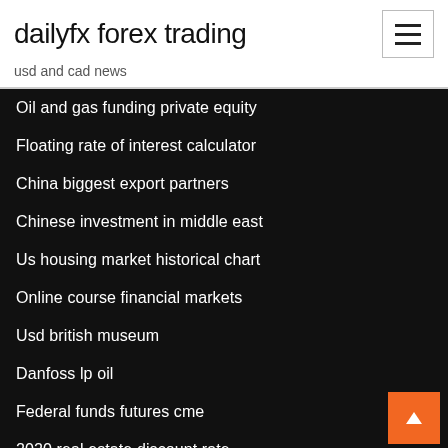dailyfx forex trading
usd and cad news
Oil and gas funding private equity
Floating rate of interest calculator
China biggest export partners
Chinese investment in middle east
Us housing market historical chart
Online course financial markets
Usd british museum
Danfoss lp oil
Federal funds futures cme
2020 real estate discount rate